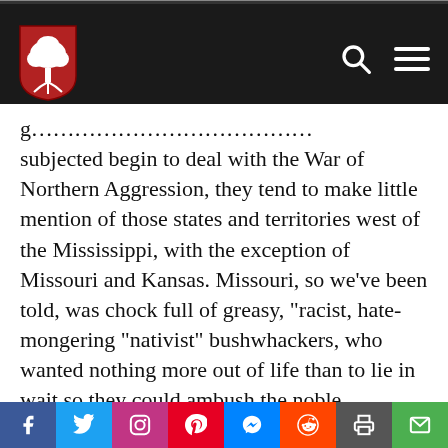[Website navigation header with logo and menu icons]
g…[truncated] subjected begin to deal with the War of Northern Aggression, they tend to make little mention of those states and territories west of the Mississippi, with the exception of Missouri and Kansas. Missouri, so we've been told, was chock full of greasy, "racist, hate-mongering "nativist" bushwhackers, who wanted nothing more out of life than to lie in wait so they could ambush the noble, virtuous, godly abolitionists from
[Social share bar: Facebook, Twitter, Instagram, Pinterest, Messenger, Reddit, Print, Email]